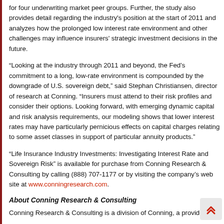for four underwriting market peer groups. Further, the study also provides detail regarding the industry's position at the start of 2011 and analyzes how the prolonged low interest rate environment and other challenges may influence insurers' strategic investment decisions in the future.
“Looking at the industry through 2011 and beyond, the Fed’s commitment to a long, low-rate environment is compounded by the downgrade of U.S. sovereign debt,” said Stephan Christiansen, director of research at Conning. “Insurers must attend to their risk profiles and consider their options. Looking forward, with emerging dynamic capital and risk analysis requirements, our modeling shows that lower interest rates may have particularly pernicious effects on capital charges relating to some asset classes in support of particular annuity products.”
“Life Insurance Industry Investments: Investigating Interest Rate and Sovereign Risk” is available for purchase from Conning Research & Consulting by calling (888) 707-1177 or by visiting the company’s web site at www.conningresearch.com.
About Conning Research & Consulting
Conning Research & Consulting is a division of Conning, a provider of